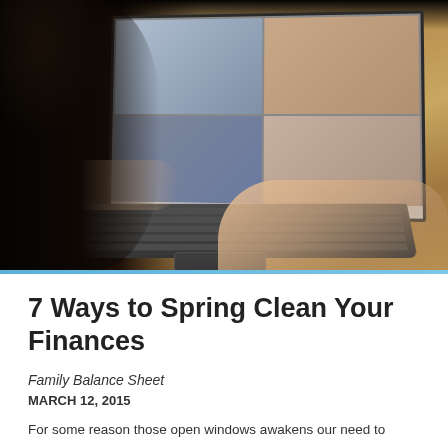[Figure (photo): Person sitting at a wooden table using a laptop/tablet with keyboard, screen showing a video conference call with multiple participants visible in grid layout.]
7 Ways to Spring Clean Your Finances
Family Balance Sheet
MARCH 12, 2015
For some reason those open windows awakens our need to